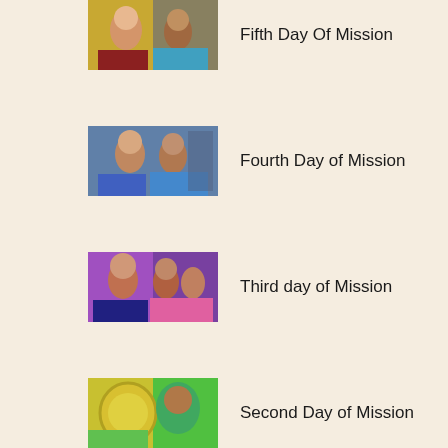[Figure (photo): Thumbnail photo of children - Fifth Day Of Mission]
Fifth Day Of Mission
[Figure (photo): Thumbnail photo of children - Fourth Day of Mission]
Fourth Day of Mission
[Figure (photo): Thumbnail photo of children - Third day of Mission]
Third day of Mission
[Figure (photo): Thumbnail photo of children - Second Day of Mission]
Second Day of Mission